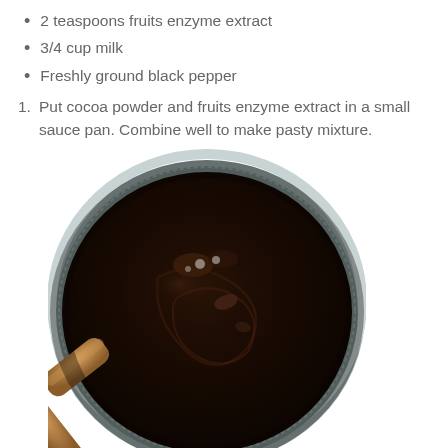2 teaspoons fruits enzyme extract
3/4 cup milk
Freshly ground black pepper
Put cocoa powder and fruits enzyme extract in a small sauce pan. Combine well to make pasty mixture.
[Figure (photo): A close-up photo of a dark chocolate paste being stirred in a stainless steel sauce pan with a wooden spoon.]